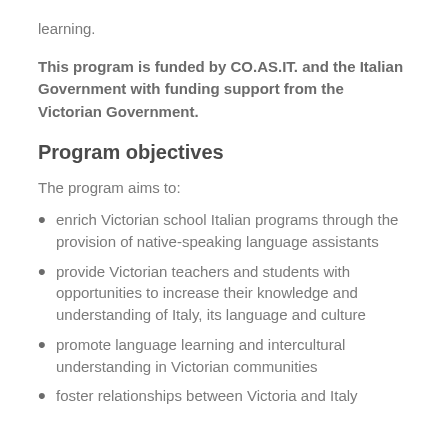learning.
This program is funded by CO.AS.IT. and the Italian Government with funding support from the Victorian Government.
Program objectives
The program aims to:
enrich Victorian school Italian programs through the provision of native-speaking language assistants
provide Victorian teachers and students with opportunities to increase their knowledge and understanding of Italy, its language and culture
promote language learning and intercultural understanding in Victorian communities
foster relationships between Victoria and Italy